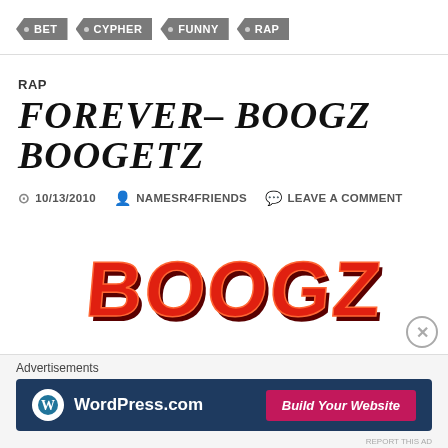• BET
• CYPHER
• FUNNY
• RAP
RAP
FOREVER– BOOGZ BOOGETZ
10/13/2010  NAMESR4FRIENDS  LEAVE A COMMENT
[Figure (illustration): Graffiti-style red bubble letters spelling 'BOOGZ']
Advertisements
[Figure (screenshot): WordPress.com advertisement banner with 'Build Your Website' button]